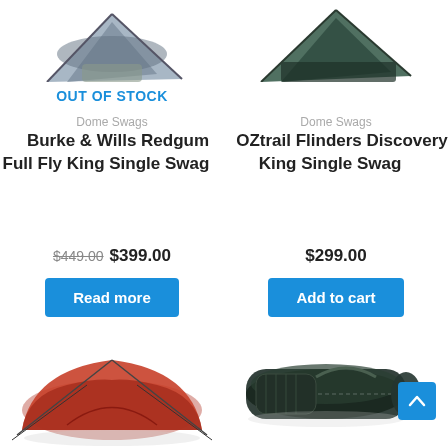[Figure (photo): Partial view of a dome swag tent (grey/green), cropped at top]
[Figure (photo): Partial view of a dome swag tent (dark green/black), cropped at top]
OUT OF STOCK
Dome Swags
Dome Swags
Burke & Wills Redgum Full Fly King Single Swag
OZtrail Flinders Discovery King Single Swag
$449.00 $399.00
$299.00
Read more
Add to cart
[Figure (photo): Red dome swag tent on white background, bottom portion of page]
[Figure (photo): Dark green/black swag bag on white background, bottom portion of page]